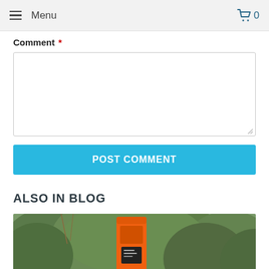Menu  0
Comment *
POST COMMENT
ALSO IN BLOG
[Figure (photo): Outdoor photo showing an orange EV charging station or similar orange device against a background of green trees/bushes]